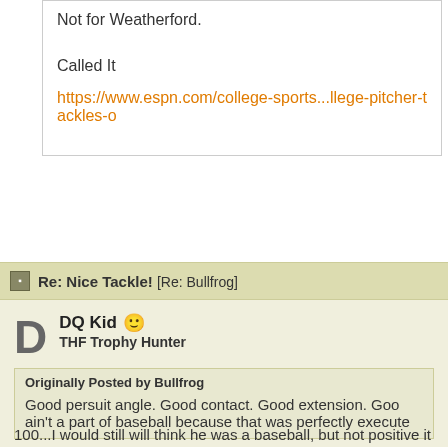Not for Weatherford.
Called It
https://www.espn.com/college-sports...llege-pitcher-tackles-o
Re: Nice Tackle! [Re: Bullfrog]
DQ Kid
THF Trophy Hunter
Originally Posted by Bullfrog
Good persuit angle. Good contact. Good extension. Good ain't a part of baseball because that was perfectly execute